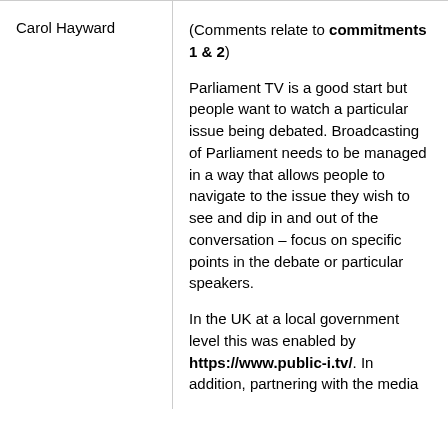| Carol Hayward | (Comments relate to commitments 1 & 2)

Parliament TV is a good start but people want to watch a particular issue being debated. Broadcasting of Parliament needs to be managed in a way that allows people to navigate to the issue they wish to see and dip in and out of the conversation – focus on specific points in the debate or particular speakers.

In the UK at a local government level this was enabled by https://www.public-i.tv/. In addition, partnering with the media |